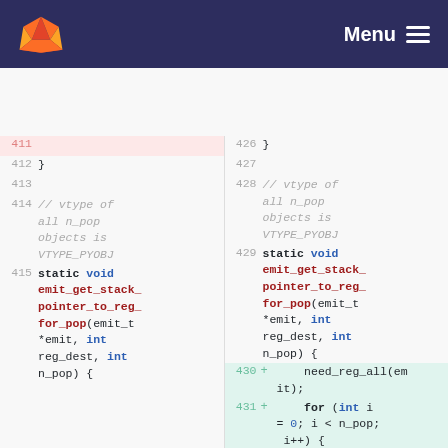GitLab logo | Menu
[Figure (screenshot): Code diff view showing two panes side by side. Left pane shows original code lines 412-415 with function emit_get_stack_pointer_to_reg_for_pop. Right pane shows modified code lines 426-432 with added lines 430-431 for need_reg_all and for loop.]